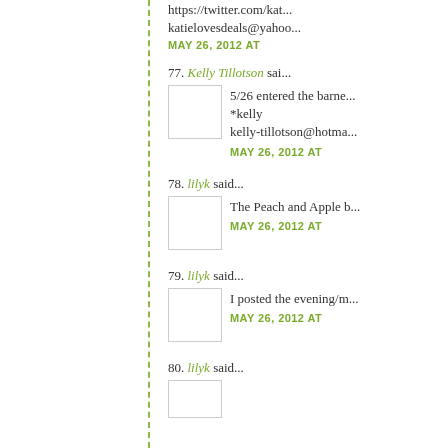https://twitter.com/kat...
katielovesdeals@yahoo...
MAY 26, 2012 AT
77. Kelly Tillotson said... 5/26 entered the barne... *kelly kelly-tillotson@hotma... MAY 26, 2012 AT
78. lilyk said... The Peach and Apple b... MAY 26, 2012 AT
79. lilyk said... I posted the evening/m... MAY 26, 2012 AT
80. lilyk said...